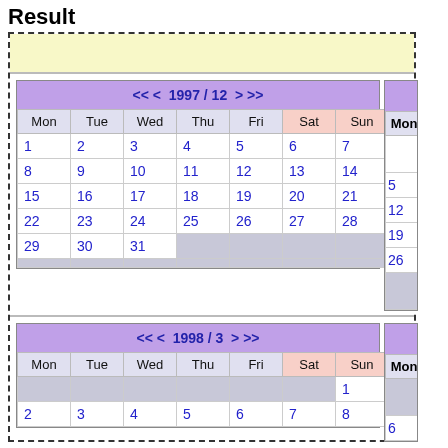Result
| Mon | Tue | Wed | Thu | Fri | Sat | Sun |
| --- | --- | --- | --- | --- | --- | --- |
| 1 | 2 | 3 | 4 | 5 | 6 | 7 |
| 8 | 9 | 10 | 11 | 12 | 13 | 14 |
| 15 | 16 | 17 | 18 | 19 | 20 | 21 |
| 22 | 23 | 24 | 25 | 26 | 27 | 28 |
| 29 | 30 | 31 |  |  |  |  |
| Mon | Tue | Wed | Thu | Fri | Sat | Sun |
| --- | --- | --- | --- | --- | --- | --- |
|  |  |  |  |  |  | 1 |
| 2 | 3 | 4 | 5 | 6 | 7 | 8 |